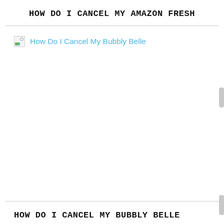HOW DO I CANCEL MY AMAZON FRESH
[Figure (illustration): Broken image placeholder with link text 'How Do I Cancel My Bubbly Belle']
HOW DO I CANCEL MY BUBBLY BELLE
[Figure (illustration): Broken image placeholder at bottom of page]